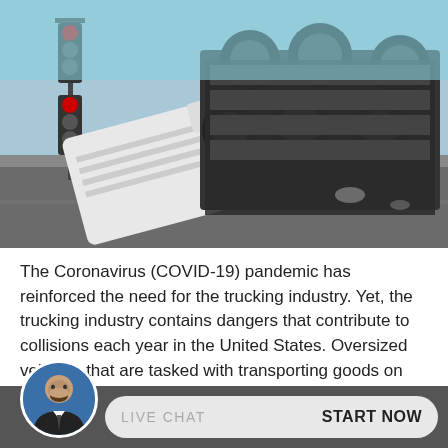[Figure (photo): Overturned semi-truck lying on its side at an intersection, with wheels visible, photographed outdoors on a clear day with traffic lights in background.]
The Coronavirus (COVID-19) pandemic has reinforced the need for the trucking industry. Yet, the trucking industry contains dangers that contribute to collisions each year in the United States. Oversized vehicles that are tasked with transporting goods on highways and roads cause a significant amount of truck accidents every year